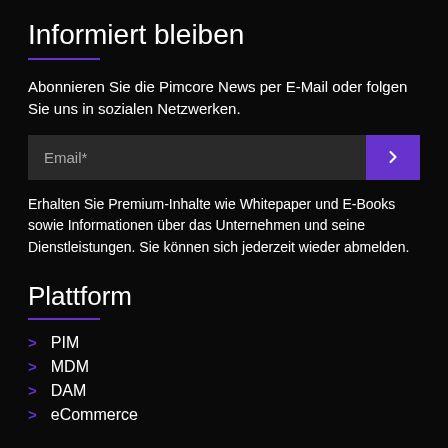Informiert bleiben
Abonnieren Sie die Pimcore News per E-Mail oder folgen Sie uns in sozialen Netzwerken.
Email*
Erhalten Sie Premium-Inhalte wie Whitepaper und E-Books sowie Informationen über das Unternehmen und seine Dienstleistungen. Sie können sich jederzeit wieder abmelden.
Plattform
PIM
MDM
DAM
eCommerce